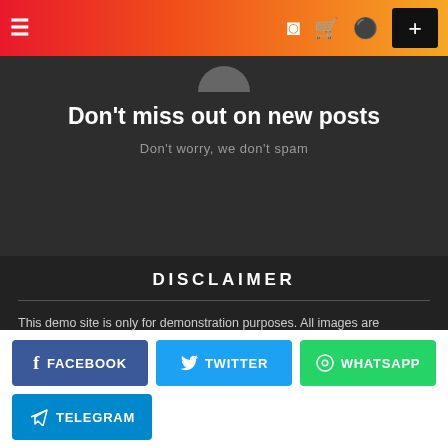≡  ) 🛒 👤  +
Don't miss out on new posts
Don't worry, we don't spam
DISCLAIMER
This demo site is only for demonstration purposes. All images are copyrighted to their respective owners. All content cited is derived from their respective sources.
FACEBOOK
TWITTER
WHATSAPP
TELEGRAM